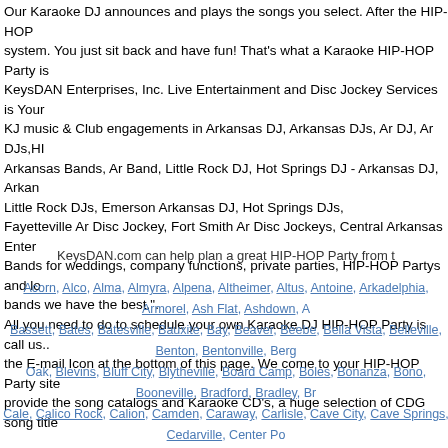Our Karaoke DJ announces and plays the songs you select. After the HIP-HOP system. You just sit back and have fun! That's what a Karaoke HIP-HOP Party is KeysDAN Enterprises, Inc. Live Entertainment and Disc Jockey Services is Your KJ music & Club engagements in Arkansas DJ, Arkansas DJs, Ar DJ, Ar DJs,HI Arkansas Bands, Ar Band, Little Rock DJ, Hot Springs DJ - Arkansas DJ, Arkan Little Rock DJs, Emerson Arkansas DJ, Hot Springs DJs, Fayetteville Ar Disc Jockey, Fort Smith Ar Disc Jockeys, Central Arkansas Enter Bands for weddings, company functions, private parties, HIP-HOP Partys and lo bands we have the best.". All you need to do to schedule your own Karaoke DJ HIP-HOP Party is call us.. the E-mail Icon at the bottom of this page. We come to your HIP-HOP Party site provide the song catalogs and Karaoke CD's, a huge selection of CDG song title
KeysDAN.com can help plan a great HIP-HOP Party from t
Acorn, Alco, Alma, Almyra, Alpena, Altheimer, Altus, Antoine, Arkadelphia, Armorel, Ash Flat, Ashdown, A Bassett, Bates, Batesville, Bauxite, Bay, Beaver, Beebe, Bella Vista, Belleville, Benton, Bentonville, Bergn Oak, Blevins, Bluff City, Blytheville, Board Camp, Boles, Bonanza, Bono, Booneville, Bradford, Bradley, Br Cale, Calico Rock, Calion, Camden, Caraway, Carlisle, Cave City, Cave Springs, Cedarville, Center Po Cherry Valley, Clarendon, Clarksville, Clinton, Coal Hill, Colt, Concord, Emerson, Cord, Corning, Cotter, Queen, Decatur, Deer, Delaplaine, Delight, Dell, Denmark, Dequeen, Dermott, Des Arc, Dewitt, Diamon Dumas, Dyer, East End, Edgemont, El Dorado, Elaine, Elkins, Elm Springs, Emerson, Emmet, England, Bay, Farmington, Fayetteville, Fifty-six, Flippin, Fordyce, Foreman, Forrest City, Fort Smith, Fouke, Fou Gillett, Gillham, Glen Rose, Glencoe, Glendale, Glenwood, Gosnell, Gould, Grady, Grannis, Grapevi Greenwood, Greers Ferry, Grubbs, Guion, Gurdon, Guy, Hackett, Hamburg, Hardy, Hargrave Corner, Ha